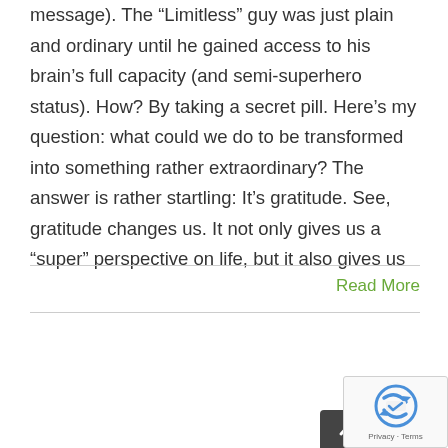message). The “Limitless” guy was just plain and ordinary until he gained access to his brain’s full capacity (and semi-superhero status). How? By taking a secret pill. Here’s my question: what could we do to be transformed into something rather extraordinary? The answer is rather startling: It’s gratitude. See, gratitude changes us. It not only gives us a “super” perspective on life, but it also gives us
Read More
[Figure (other): Scroll-to-top button (dark grey rounded rectangle with upward chevron arrow) and reCAPTCHA badge with logo and Privacy - Terms text]